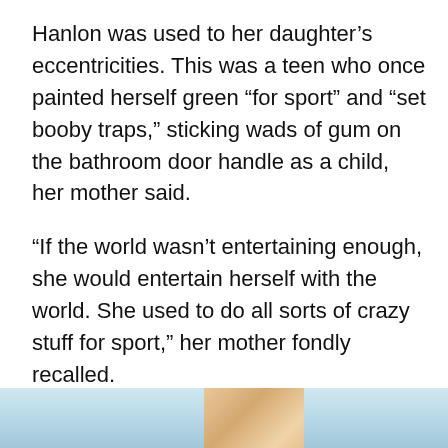Hanlon was used to her daughter's eccentricities. This was a teen who once painted herself green “for sport” and “set booby traps,” sticking wads of gum on the bathroom door handle as a child, her mother said.
“If the world wasn’t entertaining enough, she would entertain herself with the world. She used to do all sorts of crazy stuff for sport,” her mother fondly recalled.
It was when that playful nature waned that Hanlon suspected something was wrong. Cherice’s teachers saw it, too, as her grades suffered and her gregarious personality dimmed.
[Figure (photo): Partial photo visible at bottom of page showing a light blue background with a tan/skin-toned subject at the bottom edge.]